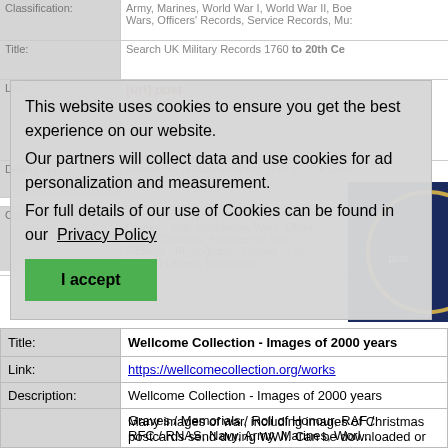Classification: Army, Marines, World War I, World War II, Boer Wars, Officers' Records, Service Records, Muster...
Title: Search UK Military Records 1760 to 20th Century
Link: [url] post
Description: Search UK Military Records 1760 to 20th Century
Classification: World War I, World War II, Boer Wars, Crimean War, Napoleonic Wars, Other Wars / Conflicts, Prisoners of War, Pictures / Photographs, Diaries / Log Books / Letters, Information
This website uses cookies to ensure you get the best experience on our website. Our partners will collect data and use cookies for ad personalization and measurement. For full details of our use of Cookies can be found in our Privacy Policy
| Field | Value |
| --- | --- |
| Title: | Wellcome Collection - Images of 2000 years |
| Link: | https://wellcomecollection.org/works |
| Description: | Wellcome Collection - Images of 2000 years |
| Extra Info: | Many images of war, including images of Christmas postcards send during WWI. Can be downloaded or printed for a fee. |
Graves / Memorials / Roll of Honour, RAF / RFC / RNAS, Navy, Army, Marines, World...